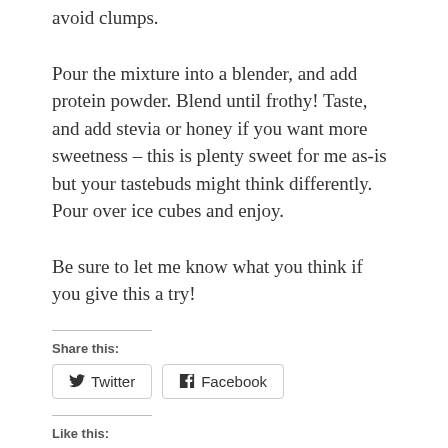avoid clumps.
Pour the mixture into a blender, and add protein powder. Blend until frothy! Taste, and add stevia or honey if you want more sweetness – this is plenty sweet for me as-is but your tastebuds might think differently. Pour over ice cubes and enjoy.
Be sure to let me know what you think if you give this a try!
Share this:
Twitter  Facebook
Like this: